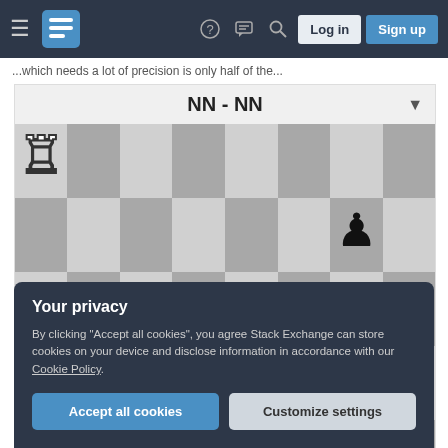Stack Exchange navigation bar with hamburger menu, logo, help, chat, search icons, Log in and Sign up buttons
...which needs a lot of precision is only half of the...
[Figure (screenshot): Chess board showing a partial endgame position with label 'NN - NN'. White rook on a8, white pawn on a5, black pawn on g6, black pawn on e5, white king on g5, black pawn on h4.]
Your privacy
By clicking "Accept all cookies", you agree Stack Exchange can store cookies on your device and disclose information in accordance with our Cookie Policy.
Accept all cookies
Customize settings